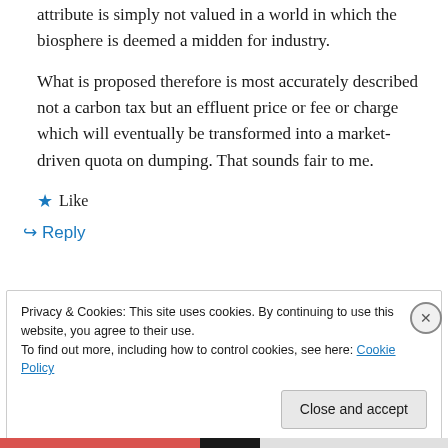attribute is simply not valued in a world in which the biosphere is deemed a midden for industry.
What is proposed therefore is most accurately described not a carbon tax but an effluent price or fee or charge which will eventually be transformed into a market-driven quota on dumping. That sounds fair to me.
★ Like
↪ Reply
Privacy & Cookies: This site uses cookies. By continuing to use this website, you agree to their use.
To find out more, including how to control cookies, see here: Cookie Policy
Close and accept